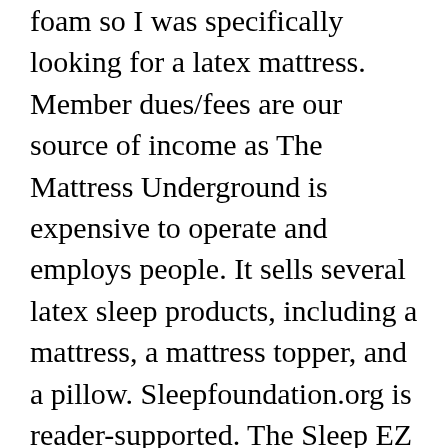foam so I was specifically looking for a latex mattress. Member dues/fees are our source of income as The Mattress Underground is expensive to operate and employs people. It sells several latex sleep products, including a mattress, a mattress topper, and a pillow. Sleepfoundation.org is reader-supported. The Sleep EZ Organic Mattress uses 100% organic latex, 100% organic cotton and eco-conscious wool. Detailed comparisons are provided for Plushbeds, Flobeds, Foam Sweet Foam, Savvy Rest, SleepEZ, Zenhaven and more. As the name suggests, the Brentwood